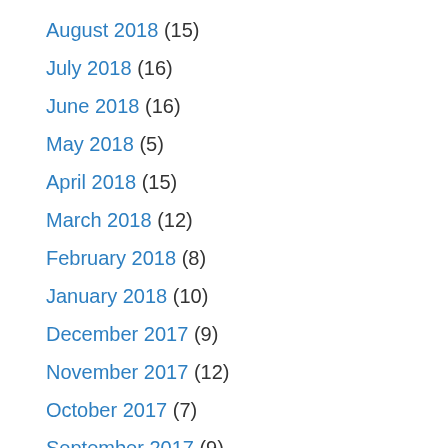August 2018 (15)
July 2018 (16)
June 2018 (16)
May 2018 (5)
April 2018 (15)
March 2018 (12)
February 2018 (8)
January 2018 (10)
December 2017 (9)
November 2017 (12)
October 2017 (7)
September 2017 (9)